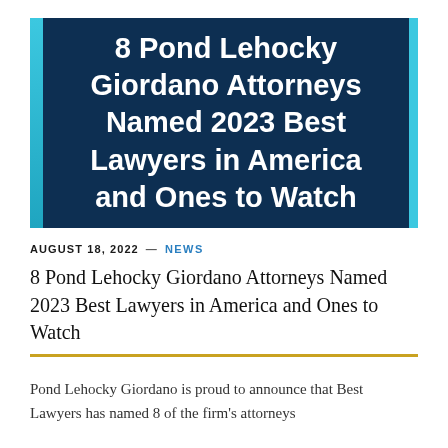[Figure (illustration): Dark navy blue hero banner with light blue vertical bars on left and right edges, containing bold white text: '8 Pond Lehocky Giordano Attorneys Named 2023 Best Lawyers in America and Ones to Watch']
AUGUST 18, 2022 — NEWS
8 Pond Lehocky Giordano Attorneys Named 2023 Best Lawyers in America and Ones to Watch
Pond Lehocky Giordano is proud to announce that Best Lawyers has named 8 of the firm's attorneys